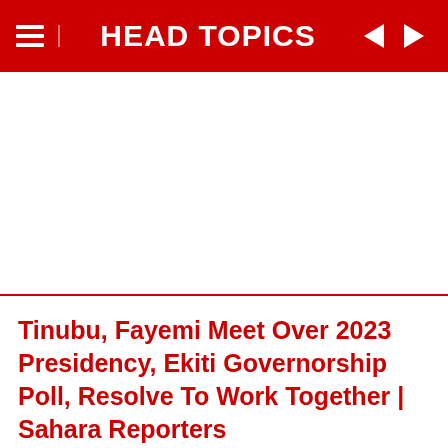HEAD TOPICS
Tinubu, Fayemi Meet Over 2023 Presidency, Ekiti Governorship Poll, Resolve To Work Together | Sahara Reporters